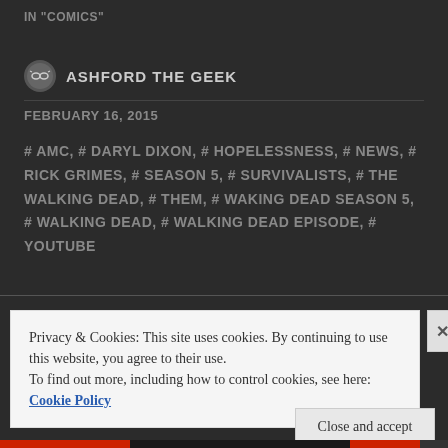IN "COMICS"
ASHFORD THE GEEK
FEBRUARY 16, 2015
# AMC, # DARYL DIXON, # HOPELESSNESS, # NEWS, # RICK GRIMES, # SEASON 5, # SURVIVALISTS, # THE WALKING DEAD, # THEM, # WAKING DEAD SEASON 5, # WALKING DEAD, # WALKING DEAD EPISODE, # YOUTUBE
Privacy & Cookies: This site uses cookies. By continuing to use this website, you agree to their use.
To find out more, including how to control cookies, see here: Cookie Policy
Close and accept